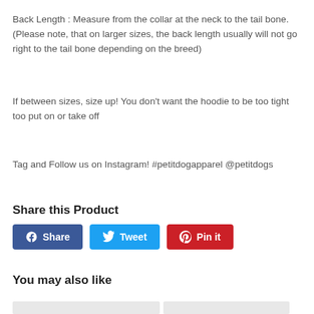Back Length : Measure from the collar at the neck to the tail bone. (Please note, that on larger sizes, the back length usually will not go right to the tail bone depending on the breed)
If between sizes, size up! You don't want the hoodie to be too tight too put on or take off
Tag and Follow us on Instagram! #petitdogapparel @petitdogs
Share this Product
[Figure (other): Three social media share buttons: Facebook Share (blue), Twitter Tweet (light blue), Pinterest Pin it (red)]
You may also like